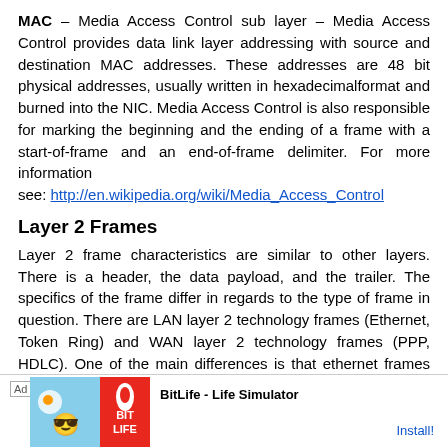MAC – Media Access Control sub layer – Media Access Control provides data link layer addressing with source and destination MAC addresses. These addresses are 48 bit physical addresses, usually written in hexadecimalformat and burned into the NIC. Media Access Control is also responsible for marking the beginning and the ending of a frame with a start-of-frame and an end-of-frame delimiter. For more information
see: http://en.wikipedia.org/wiki/Media_Access_Control
Layer 2 Frames
Layer 2 frame characteristics are similar to other layers. There is a header, the data payload, and the trailer. The specifics of the frame differ in regards to the type of frame in question. There are LAN layer 2 technology frames (Ethernet, Token Ring) and WAN layer 2 technology frames (PPP, HDLC). One of the main differences is that ethernet frames have source and destination ... ers and serial te...
[Figure (other): Advertisement banner for BitLife - Life Simulator app with Install button]